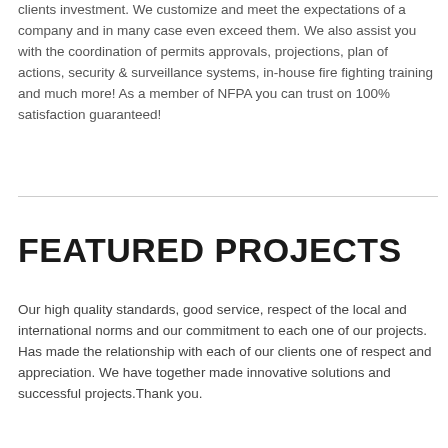clients investment. We customize and meet the expectations of a company and in many case even exceed them. We also assist you with the coordination of permits approvals, projections, plan of actions, security & surveillance systems, in-house fire fighting training and much more! As a member of NFPA you can trust on 100% satisfaction guaranteed!
FEATURED PROJECTS
Our high quality standards, good service, respect of the local and international norms and our commitment to each one of our projects. Has made the relationship with each of our clients one of respect and appreciation. We have together made innovative solutions and successful projects.Thank you.